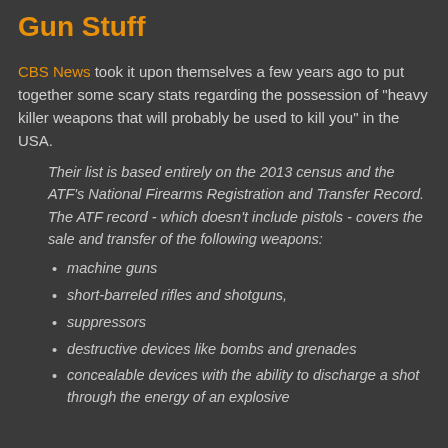Gun Stuff
CBS News took it upon themselves a few years ago to put together some scary stats regarding the possession of "heavy killer weapons that will probably be used to kill you" in the USA.
Their list is based entirely on the 2013 census and the ATF's National Firearms Registration and Transfer Record. The ATF record - which doesn't include pistols - covers the sale and transfer of the following weapons:
machine guns
short-barreled rifles and shotguns,
suppressors
destructive devices like bombs and grenades
concealable devices with the ability to discharge a shot through the energy of an explosive